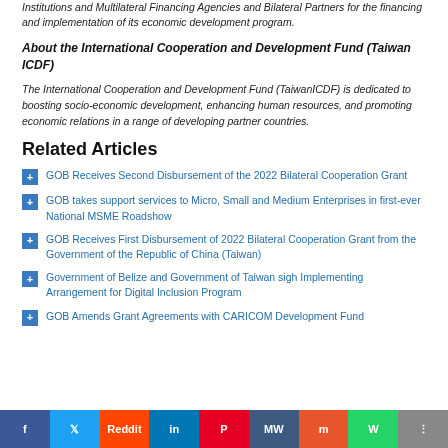Institutions and Multilateral Financing Agencies and Bilateral Partners for the financing and implementation of its economic development program.
About the International Cooperation and Development Fund (Taiwan ICDF)
The International Cooperation and Development Fund (TaiwanICDF) is dedicated to boosting socio-economic development, enhancing human resources, and promoting economic relations in a range of developing partner countries.
Related Articles
GOB Receives Second Disbursement of the 2022 Bilateral Cooperation Grant
GOB takes support services to Micro, Small and Medium Enterprises in first-ever National MSME Roadshow
GOB Receives First Disbursement of 2022 Bilateral Cooperation Grant from the Government of the Republic of China (Taiwan)
Government of Belize and Government of Taiwan sigh Implementing Arrangement for Digital Inclusion Program
GOB Amends Grant Agreements with CARICOM Development Fund